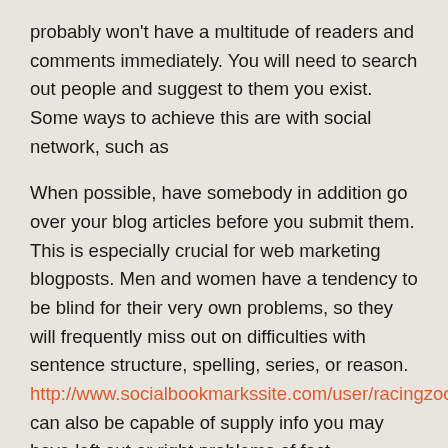probably won't have a multitude of readers and comments immediately. You will need to search out people and suggest to them you exist. Some ways to achieve this are with social network, such as
When possible, have somebody in addition go over your blog articles before you submit them. This is especially crucial for web marketing blogposts. Men and women have a tendency to be blind for their very own problems, so they will frequently miss out on difficulties with sentence structure, spelling, series, or reason. http://www.socialbookmarkssite.com/user/racingzoo72 can also be capable of supply info you may have left out or right problems of fact.
Build a inspired website as outlined by what you are